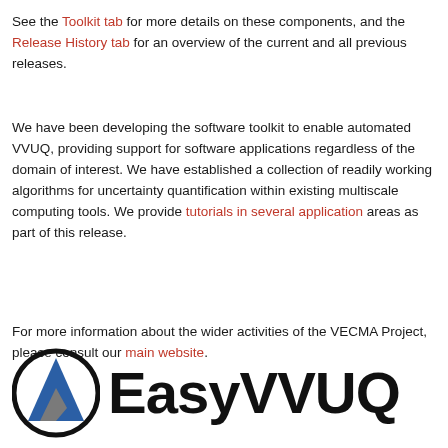See the Toolkit tab for more details on these components, and the Release History tab for an overview of the current and all previous releases.
We have been developing the software toolkit to enable automated VVUQ, providing support for software applications regardless of the domain of interest. We have established a collection of readily working algorithms for uncertainty quantification within existing multiscale computing tools. We provide tutorials in several application areas as part of this release.
For more information about the wider activities of the VECMA Project, please consult our main website.
[Figure (logo): EasyVVUQ logo consisting of a circular emblem with a blue triangle/mountain shape and grey shape inside, followed by the text EasyVVUQ in bold black]